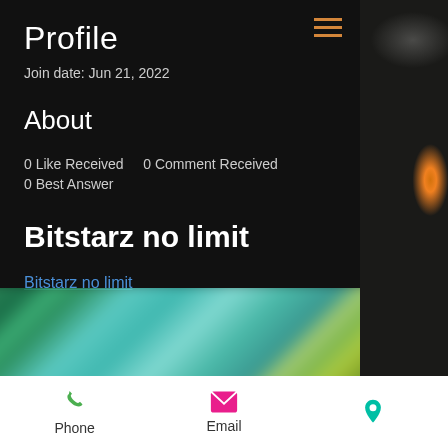Profile
Join date: Jun 21, 2022
About
0 Like Received   0 Comment Received
0 Best Answer
Bitstarz no limit
Bitstarz no limit
[Figure (photo): Blurred colorful image showing green and teal tones]
[Figure (photo): Right side panel showing industrial/steampunk scene with glowing lamp and metal pipes against brick wall]
Phone   Email